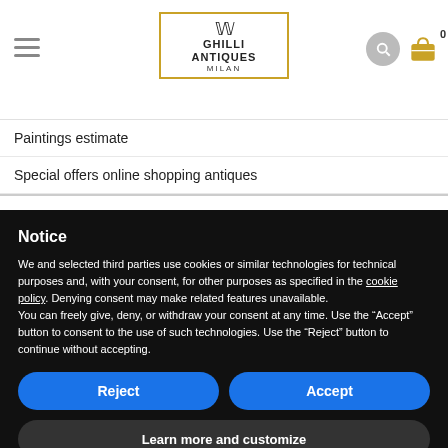[Figure (logo): Ghilli Antiques Milan logo with decorative bird emblem inside gold border]
Paintings estimate
Special offers online shopping antiques
Notice
We and selected third parties use cookies or similar technologies for technical purposes and, with your consent, for other purposes as specified in the cookie policy. Denying consent may make related features unavailable.
You can freely give, deny, or withdraw your consent at any time. Use the “Accept” button to consent to the use of such technologies. Use the “Reject” button to continue without accepting.